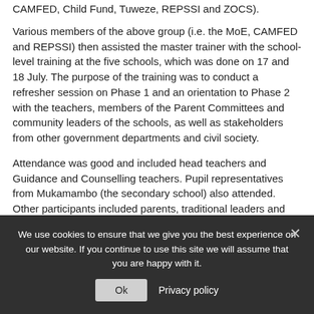CAMFED, Child Fund, Tuweze, REPSSI and ZOCS).
Various members of the above group (i.e. the MoE, CAMFED and REPSSI) then assisted the master trainer with the school-level training at the five schools, which was done on 17 and 18 July. The purpose of the training was to conduct a refresher session on Phase 1 and an orientation to Phase 2 with the teachers, members of the Parent Committees and community leaders of the schools, as well as stakeholders from other government departments and civil society.
Attendance was good and included head teachers and Guidance and Counselling teachers. Pupil representatives from Mukamambo (the secondary school) also attended. Other participants included parents, traditional leaders and
We use cookies to ensure that we give you the best experience on our website. If you continue to use this site we will assume that you are happy with it.